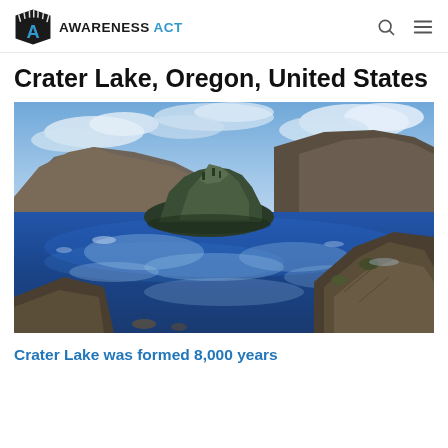AWARENESS ACT
Crater Lake, Oregon, United States
[Figure (photo): Aerial photograph of Crater Lake in Oregon showing the deep blue lake with Wizard Island (a volcanic cinder cone) in the center, surrounded by steep caldera walls and rocky cliffs in the foreground, with a dramatic cloudy sky reflected in the water.]
Crater Lake was formed 8,000 years